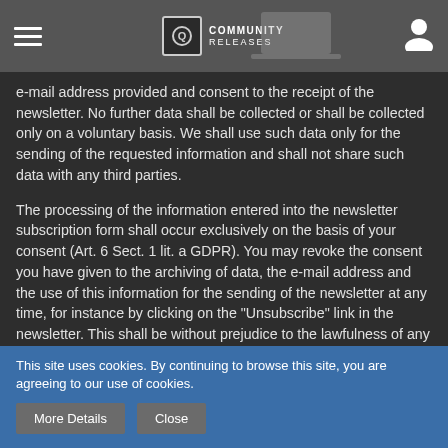Community Releases — navigation bar
e-mail address provided and consent to the receipt of the newsletter. No further data shall be collected or shall be collected only on a voluntary basis. We shall use such data only for the sending of the requested information and shall not share such data with any third parties.
The processing of the information entered into the newsletter subscription form shall occur exclusively on the basis of your consent (Art. 6 Sect. 1 lit. a GDPR). You may revoke the consent you have given to the archiving of data, the e-mail address and the use of this information for the sending of the newsletter at any time, for instance by clicking on the "Unsubscribe" link in the newsletter. This shall be without prejudice to the lawfulness of any data processing transactions that have taken place to date.
This site uses cookies. By continuing to browse this site, you are agreeing to our use of cookies.